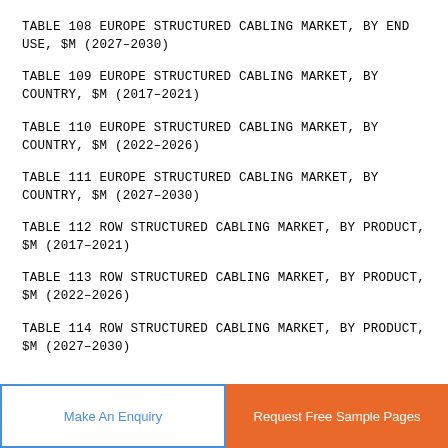TABLE 108 EUROPE STRUCTURED CABLING MARKET, BY END USE, $M (2027–2030)
TABLE 109 EUROPE STRUCTURED CABLING MARKET, BY COUNTRY, $M (2017–2021)
TABLE 110 EUROPE STRUCTURED CABLING MARKET, BY COUNTRY, $M (2022–2026)
TABLE 111 EUROPE STRUCTURED CABLING MARKET, BY COUNTRY, $M (2027–2030)
TABLE 112 ROW STRUCTURED CABLING MARKET, BY PRODUCT, $M (2017–2021)
TABLE 113 ROW STRUCTURED CABLING MARKET, BY PRODUCT, $M (2022–2026)
TABLE 114 ROW STRUCTURED CABLING MARKET, BY PRODUCT, $M (2027–2030)